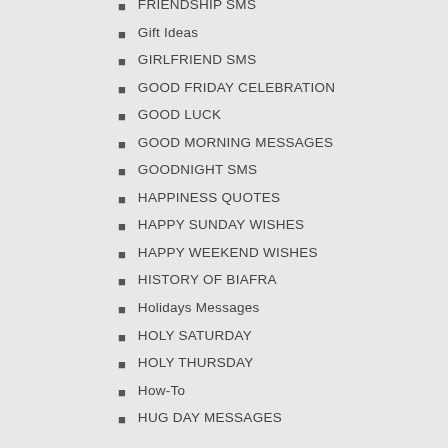FRIENDSHIP SMS
Gift Ideas
GIRLFRIEND SMS
GOOD FRIDAY CELEBRATION
GOOD LUCK
GOOD MORNING MESSAGES
GOODNIGHT SMS
HAPPINESS QUOTES
HAPPY SUNDAY WISHES
HAPPY WEEKEND WISHES
HISTORY OF BIAFRA
Holidays Messages
HOLY SATURDAY
HOLY THURSDAY
How-To
HUG DAY MESSAGES